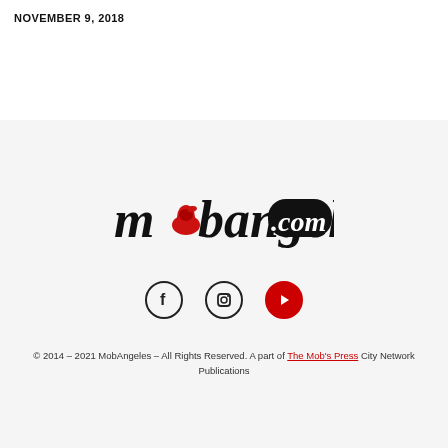NOVEMBER 9, 2018
[Figure (logo): mobangeles.com logo with red fedora hat replacing the letter 'o', text in bold black with 'com' in white on black rounded rectangle]
[Figure (infographic): Social media icons: Facebook (f), Instagram (camera), YouTube (play button in red circle)]
© 2014 – 2021 MobAngeles – All Rights Reserved. A part of The Mob's Press City Network Publications